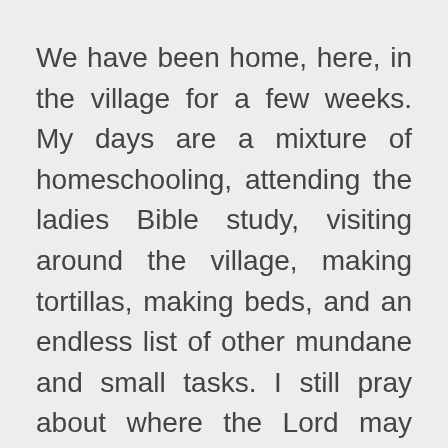We have been home, here, in the village for a few weeks. My days are a mixture of homeschooling, attending the ladies Bible study, visiting around the village, making tortillas, making beds, and an endless list of other mundane and small tasks. I still pray about where the Lord may lead us someday, and I hope my heart will always be open to go wherever He asks. But, I have a renewed vision for this season God has placed me in today. I am asking Him for wisdom. I am leaning into the promises of God, and hopefully